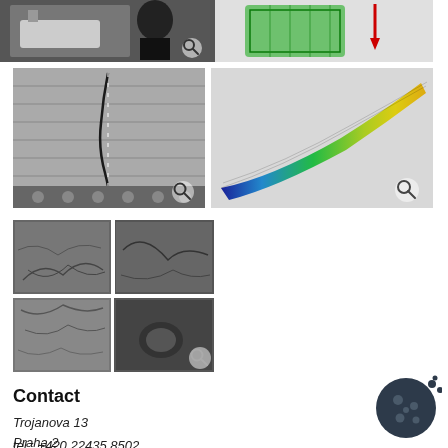[Figure (photo): Top row of images: lab photo with person and equipment (left), and 3D green mesh model with red arrow (right)]
[Figure (photo): Middle row: left photo shows cracked panel with dotted line crack; right image is CFD/FEM simulation of elongated 3D model with color gradient from blue to green/yellow]
[Figure (photo): Grid of 4 SEM (scanning electron microscope) grayscale images showing material fracture surfaces]
Contact
Trojanova 13
Praha 2
120 01
tel.: +420 22435 8502
fax: +420 23435 8523